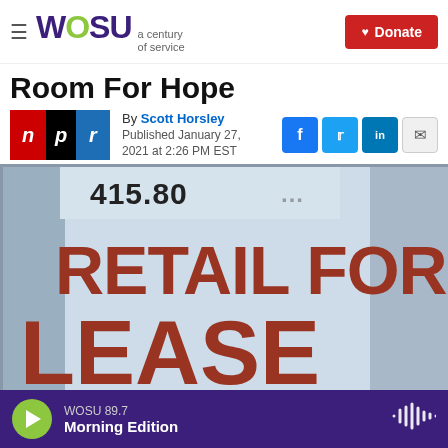WOSU a century of service | Donate
Room For Hope
By Scott Horsley
Published January 27, 2021 at 2:26 PM EST
[Figure (photo): A retail storefront window with a sign reading 'RETAIL FOR LEASE' in large dark red letters, and a phone number '415.80...' at the top]
WOSU 89.7 | Morning Edition